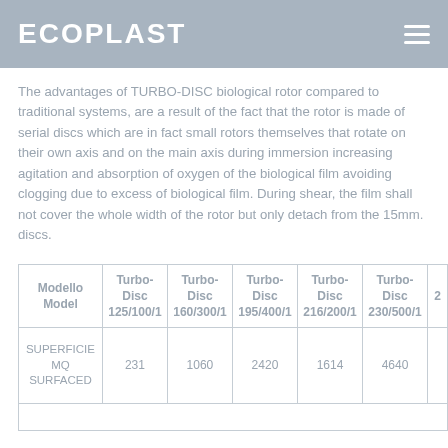ECOPLAST
The advantages of TURBO-DISC biological rotor compared to traditional systems, are a result of the fact that the rotor is made of serial discs which are in fact small rotors themselves that rotate on their own axis and on the main axis during immersion increasing agitation and absorption of oxygen of the biological film avoiding clogging due to excess of biological film. During shear, the film shall not cover the whole width of the rotor but only detach from the 15mm. discs.
| Modello Model | Turbo-Disc 125/100/1 | Turbo-Disc 160/300/1 | Turbo-Disc 195/400/1 | Turbo-Disc 216/200/1 | Turbo-Disc 230/500/1 | 2… |
| --- | --- | --- | --- | --- | --- | --- |
| SUPERFICIE MQ SURFACED | 231 | 1060 | 2420 | 1614 | 4640 |  |